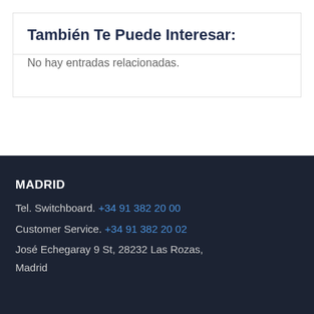También Te Puede Interesar:
No hay entradas relacionadas.
MADRID
Tel. Switchboard. +34 91 382 20 00
Customer Service. +34 91 382 20 02
José Echegaray 9 St, 28232 Las Rozas, Madrid